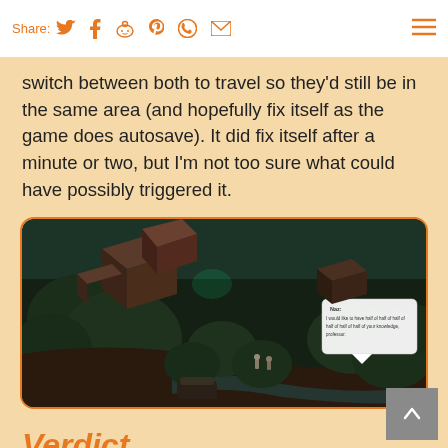Share: [twitter] [facebook] [reddit] [pinterest] [whatsapp] [email] [menu]
switch between both to travel so they'd still be in the same area (and hopefully fix itself as the game does autosave). It did fix itself after a minute or two, but I'm not too sure what could have possibly triggered it.
[Figure (screenshot): A dark isometric RPG game screenshot showing a forested area with buildings. A dialogue box is visible with text from a character.]
Verdict